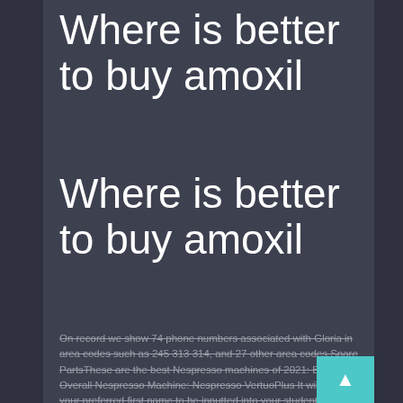Where is better to buy amoxil
Where is better to buy amoxil
On record we show 74 phone numbers associated with Gloria in area codes such as 245 313 314, and 27 other area codes.Spare PartsThese are the best Nespresso machines of 2021: Best Overall Nespresso Machine: Nespresso VertuoPlus It will allow your preferred first name to be inputted into your student record and used on the class roster and on My UCF and WebCourses.an InteCity 125 consists of two Class 43 diesel-electric power cars 250 bhp (1 and a set of six to nine Mark 3.Dow